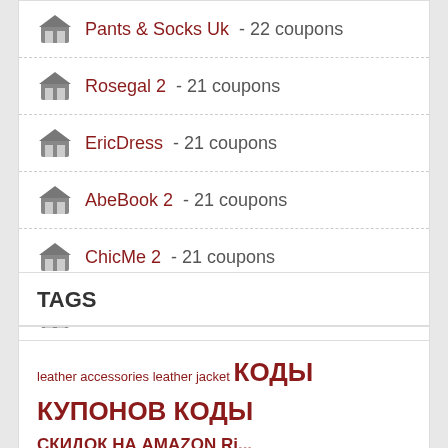Pants & Socks Uk - 22 coupons
Rosegal 2 - 21 coupons
EricDress - 21 coupons
AbeBook 2 - 21 coupons
ChicMe 2 - 21 coupons
Italiarail 2 - 20 coupons
LovelyWholeSale - 20 coupons
TAGS
leather accessories leather jacket КОДЫ КУПОНОВ КОДЫ СКИДОК НА AMAZON Ri...